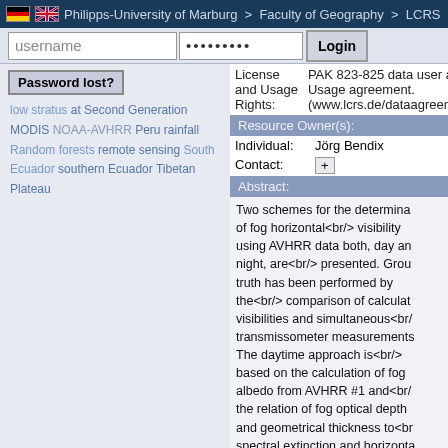Philipps-University of Marburg > Faculty of Geography > LCRS
username | ••••••••• | Login
Password lost?
low stratus at Second Generation MODIS NOAA-AVHRR Peru rainfall Random forests remote sensing South Ecuador southern Ecuador Tibetan Plateau
License and Usage Rights: PAK 823-825 data user agreement. (www.lcrs.de/dataagreementp3.)
Resource Owner(s):
Individual: Jörg Bendix
Contact: +
Abstract:
Two schemes for the determination of fog horizontal<br/> visibility using AVHRR data both, day and night, are<br/> presented. Ground truth has been performed by the<br/> comparison of calculated visibilities and simultaneous<br/> transmissometer measurements. The daytime approach is<br/> based on the calculation of fog albedo from AVHRR #1 and<br/> the relation of fog optical depth and geometrical thickness to<br/> spectral extinction and horizontal visibility. The mean<br/> deviation between observed and calculated visibilities is<br/> about 56 m. The nighttime approach uses the relation<br/> between fog and air temperature derived from AVHRR # 4<br/> and 5 and a simple model for the approximation of the